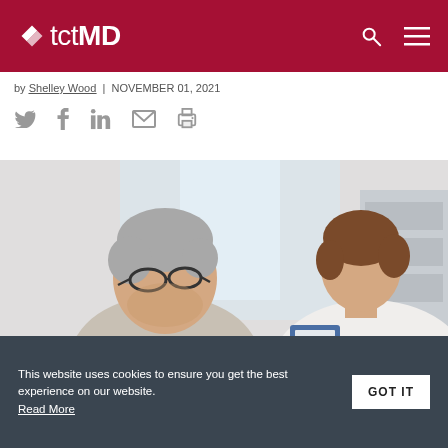tctMD
by Shelley Wood | NOVEMBER 01, 2021
[Figure (illustration): Social sharing icons: Twitter, Facebook, LinkedIn, email, print]
[Figure (photo): An older man with glasses sitting across from a female healthcare provider who is holding a clipboard, in a clinical setting]
This website uses cookies to ensure you get the best experience on our website. Read More
GOT IT